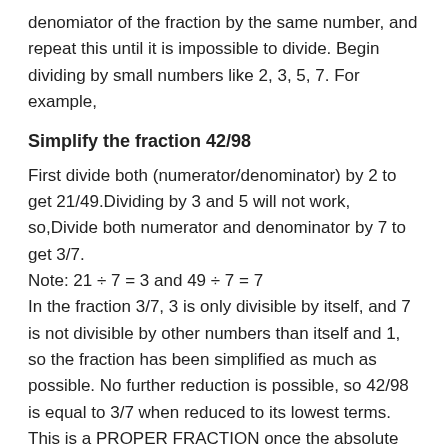denomiator of the fraction by the same number, and repeat this until it is impossible to divide. Begin dividing by small numbers like 2, 3, 5, 7. For example,
Simplify the fraction 42/98
First divide both (numerator/denominator) by 2 to get 21/49.Dividing by 3 and 5 will not work, so,Divide both numerator and denominator by 7 to get 3/7. Note: 21 ÷ 7 = 3 and 49 ÷ 7 = 7
In the fraction 3/7, 3 is only divisible by itself, and 7 is not divisible by other numbers than itself and 1, so the fraction has been simplified as much as possible. No further reduction is possible, so 42/98 is equal to 3/7 when reduced to its lowest terms. This is a PROPER FRACTION once the absolute value of the top number or numerator (3) is smaller than the absolute value of the bottom number or denomintor (7).